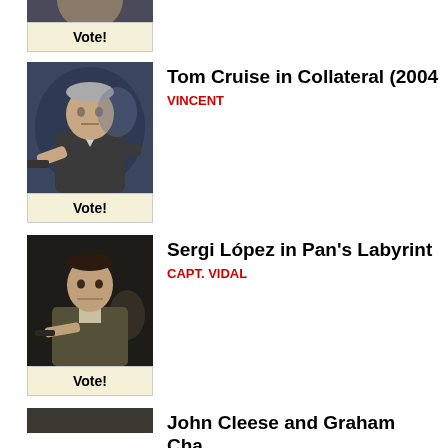[Figure (photo): Partial view of a movie character image with a Vote button below (entry cut off at top of page)]
Vote!
Tom Cruise in Collateral (2004)
VINCENT
[Figure (photo): Tom Cruise as Vincent in Collateral (2004), holding a gun, grey-haired man in suit]
Vote!
Sergi López in Pan's Labyrinth
CAPT. VIDAL
[Figure (photo): Sergi López as Capt. Vidal in Pan's Labyrinth, stern-looking man in military uniform]
Vote!
John Cleese and Graham Cha...